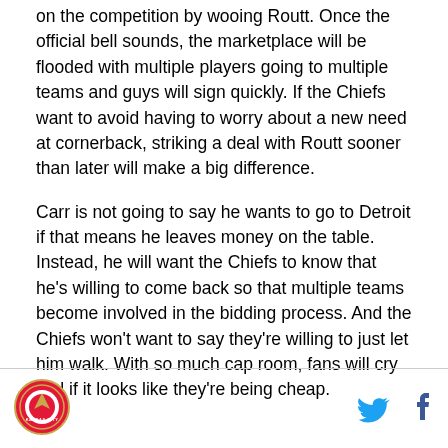on the competition by wooing Routt. Once the official bell sounds, the marketplace will be flooded with multiple players going to multiple teams and guys will sign quickly. If the Chiefs want to avoid having to worry about a new need at cornerback, striking a deal with Routt sooner than later will make a big difference.
Carr is not going to say he wants to go to Detroit if that means he leaves money on the table. Instead, he will want the Chiefs to know that he's willing to come back so that multiple teams become involved in the bidding process. And the Chiefs won't want to say they're willing to just let him walk. With so much cap room, fans will cry foul if it looks like they're being cheap.
[Figure (logo): Kansas City Chiefs circular logo with blue and gold design]